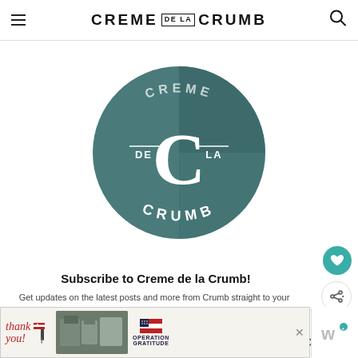CREME DE LA CRUMB
[Figure (logo): Creme de la Crumb circular logo with teal/dark green background, large white C letter in center, text 'DE' on left, 'LA' on right, 'CRUMB' along bottom arc, 'CREME' along top arc]
Subscribe to Creme de la Crumb!
Get updates on the latest posts and more from Crumb straight to your inbox.
[Figure (infographic): What's Next section: thumbnail of Baked Honey Sriracha Lim... recipe with orange glazed food image]
[Figure (screenshot): Advertisement banner: Thank you military appreciation Operation Gratitude ad with soldiers and American flags]